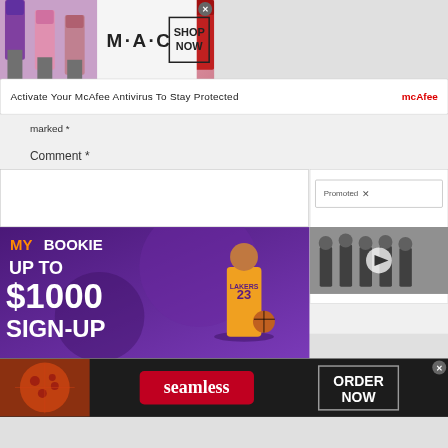[Figure (screenshot): MAC Cosmetics advertisement banner with lipsticks and SHOP NOW button]
Activate Your McAfee Antivirus To Stay Protected
marked *
Comment *
[Figure (screenshot): MyBookie sports betting advertisement - UP TO $1000 SIGN-UP bonus with Lakers player]
Promoted ×
[Figure (screenshot): Video thumbnail showing group of people]
[Figure (screenshot): Seamless food delivery advertisement with ORDER NOW button and pizza image]